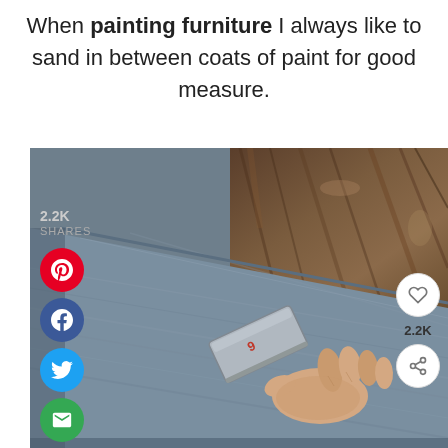When painting furniture I always like to sand in between coats of paint for good measure.
[Figure (photo): A hand holding a sanding block sanding a grey/blue painted furniture surface, with wood grain visible in the upper right background. Social sharing buttons (Pinterest, Facebook, Twitter, Email) appear on the left side with 2.2K shares count. A heart icon, 2.2K count, and share icon appear on the lower right.]